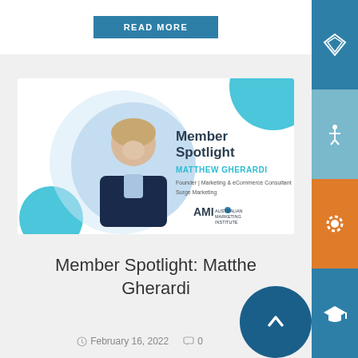READ MORE
[Figure (photo): Member Spotlight banner featuring Matthew Gherardi, Founder | Marketing & eCommerce Consultant, Surge Marketing. Shows a professional headshot and AMI (Australian Marketing Institute) logo with teal accent circles.]
Member Spotlight: Matthew Gherardi
February 16, 2022  0
My marketing journey has spanned across both